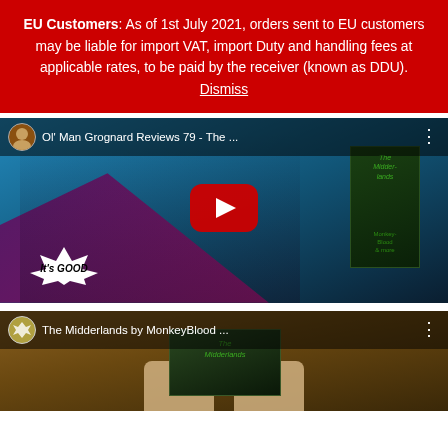EU Customers: As of 1st July 2021, orders sent to EU customers may be liable for import VAT, import Duty and handling fees at applicable rates, to be paid by the receiver (known as DDU). Dismiss
[Figure (screenshot): YouTube video thumbnail for 'Ol Man Grognard Reviews 79 - The Midderlands' showing a man in a fedora hat holding a green book with 'It's GOOD' text. Red YouTube play button in center.]
[Figure (screenshot): YouTube video thumbnail for 'The Midderlands by MonkeyBlood ...' showing hands holding a green book on a wooden table background.]